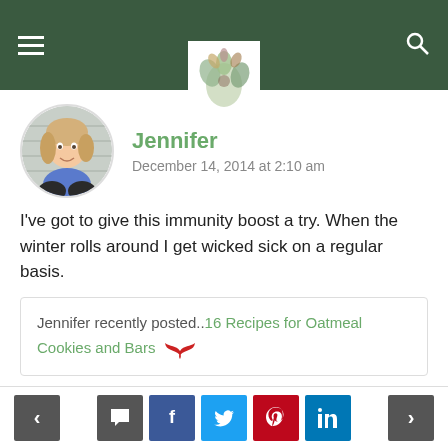Site navigation header with hamburger menu, floral logo, and search icon
Jennifer
December 14, 2014 at 2:10 am
I've got to give this immunity boost a try. When the winter rolls around I get wicked sick on a regular basis.
Jennifer recently posted..16 Recipes for Oatmeal Cookies and Bars
REPLY
RUSS
Navigation and social sharing buttons: previous, comment, facebook, twitter, pinterest, linkedin, next